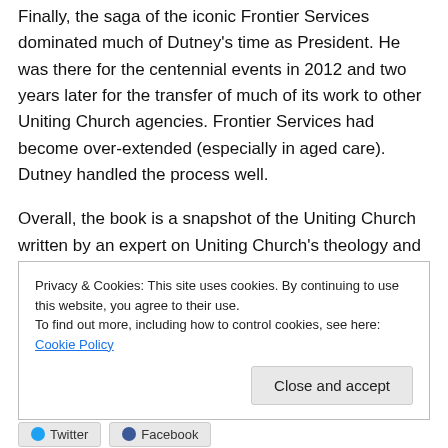Finally, the saga of the iconic Frontier Services dominated much of Dutney's time as President. He was there for the centennial events in 2012 and two years later for the transfer of much of its work to other Uniting Church agencies. Frontier Services had become over-extended (especially in aged care). Dutney handled the process well.
Overall, the book is a snapshot of the Uniting Church written by an expert on Uniting Church's theology and polity.
Privacy & Cookies: This site uses cookies. By continuing to use this website, you agree to their use. To find out more, including how to control cookies, see here: Cookie Policy